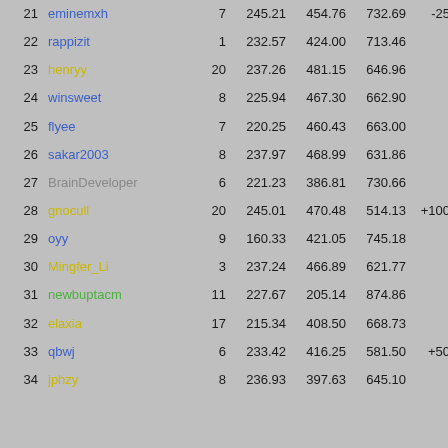| # | Name | N | Col1 | Col2 | Col3 | Bonus | Total |
| --- | --- | --- | --- | --- | --- | --- | --- |
| 21 | eminemxh | 7 | 245.21 | 454.76 | 732.69 | -25 | 1407.66 |
| 22 | rappizit | 1 | 232.57 | 424.00 | 713.46 |  | 1370.03 |
| 23 | henryy | 20 | 237.26 | 481.15 | 646.96 |  | 1365.37 |
| 24 | winsweet | 8 | 225.94 | 467.30 | 662.90 |  | 1356.14 |
| 25 | flyee | 7 | 220.25 | 460.43 | 663.00 |  | 1343.68 |
| 26 | sakar2003 | 8 | 237.97 | 468.99 | 631.86 |  | 1338.82 |
| 27 | BrainDeveloper | 6 | 221.23 | 386.81 | 730.66 |  | 1167.47 |
| 28 | gnocull | 20 | 245.01 | 470.48 | 514.13 | +100 | 1329.62 |
| 29 | oyy | 9 | 160.33 | 421.05 | 745.18 |  | 1326.56 |
| 30 | Mingfer_Li | 3 | 237.24 | 466.89 | 621.77 |  | 1325.90 |
| 31 | newbuptacm | 11 | 227.67 | 205.14 | 874.86 |  | 1307.67 |
| 32 | elaxia | 17 | 215.34 | 408.50 | 668.73 |  | 1292.57 |
| 33 | qbwj | 6 | 233.42 | 416.25 | 581.50 | +50 | 1281.17 |
| 34 | jphzy | 8 | 236.93 | 397.63 | 645.10 |  | 1279.66 |